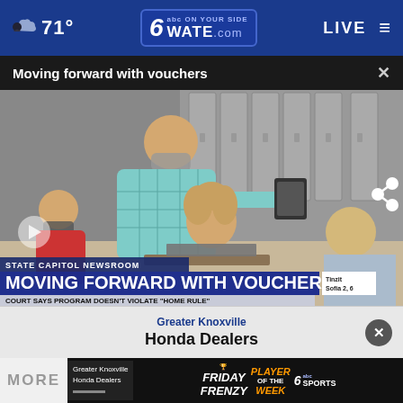71° WATE.com LIVE
Moving forward with vouchers
[Figure (screenshot): Classroom scene with teacher and students at desks using laptops. Lower-third graphic reads: STATE CAPITOL NEWSROOM / MOVING FORWARD WITH VOUCHERS / COURT SAYS PROGRAM DOESN'T VIOLATE "HOME RULE"]
Greater Knoxville Honda Dealers
MORE
[Figure (screenshot): Bottom advertisement banner: Greater Knoxville Honda Dealers / Friday Frenzy / Player of the Week / 6 ABC Sports]